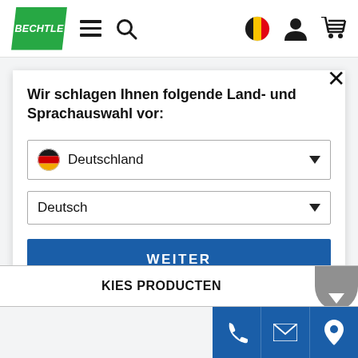[Figure (logo): Bechtle company logo - green parallelogram with white italic text BECHTLE]
Wir schlagen Ihnen folgende Land- und Sprachauswahl vor:
Deutschland
Deutsch
WEITER
KIES PRODUCTEN